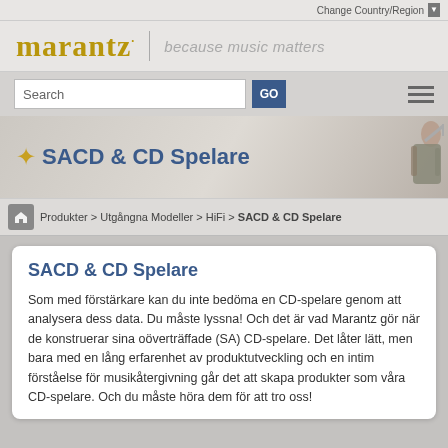Change Country/Region ▼
[Figure (logo): Marantz logo with text 'because music matters']
[Figure (screenshot): Search bar with GO button and hamburger menu]
[Figure (illustration): Banner with star icon, SACD & CD Spelare title, and musician silhouette]
Produkter > Utgångna Modeller > HiFi > SACD & CD Spelare
SACD & CD Spelare
Som med förstärkare kan du inte bedöma en CD-spelare genom att analysera dess data. Du måste lyssna! Och det är vad Marantz gör när de konstruerar sina oöverträffade (SA) CD-spelare. Det låter lätt, men bara med en lång erfarenhet av produktutveckling och en intim förståelse för musikåtergivning går det att skapa produkter som våra CD-spelare. Och du måste höra dem för att tro oss!